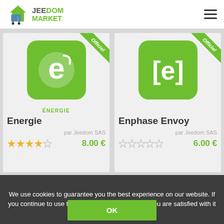[Figure (logo): Jeedom Market logo with shopping cart icon and green/grey text]
[Figure (screenshot): Energie app icon - green rounded square with white leaf-e logo]
ÉNERGIE
Energie
par Jeedom SAS
8.00 €
[Figure (screenshot): Enphase Envoy app icon - green rounded square with white [e] logo]
Enphase Envoy
par Jeedom SAS
6.00 €
We use cookies to guarantee you the best experience on our website. If you continue to use this site, we will assume that you are satisfied with it
Ewattch
Extel